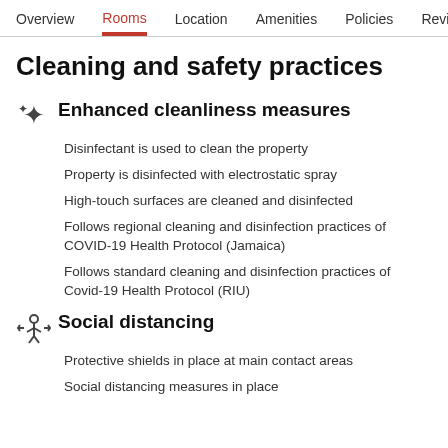Overview  Rooms  Location  Amenities  Policies  Reviews
Cleaning and safety practices
Enhanced cleanliness measures
Disinfectant is used to clean the property
Property is disinfected with electrostatic spray
High-touch surfaces are cleaned and disinfected
Follows regional cleaning and disinfection practices of COVID-19 Health Protocol (Jamaica)
Follows standard cleaning and disinfection practices of Covid-19 Health Protocol (RIU)
Social distancing
Protective shields in place at main contact areas
Social distancing measures in place